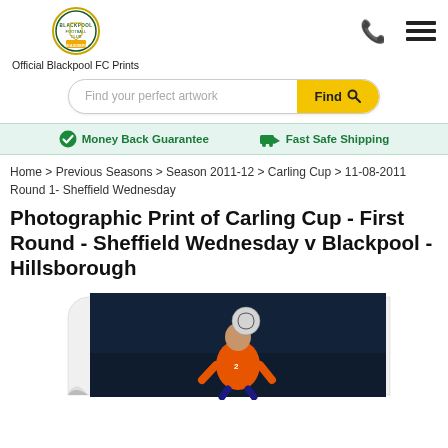Official Blackpool FC Prints
Find your perfect artwork
Money Back Guarantee   Fast Safe Shipping
Home > Previous Seasons > Season 2011-12 > Carling Cup > 11-08-2011 Round 1- Sheffield Wednesday
Photographic Print of Carling Cup - First Round - Sheffield Wednesday v Blackpool - Hillsborough
[Figure (photo): A footballer in an orange Blackpool jersey heading a football at night, dark background, action shot at Hillsborough stadium]